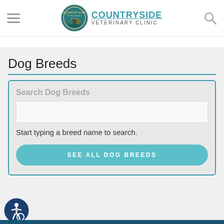[Figure (logo): Countryside Veterinary Clinic logo with circular emblem featuring animals and teal text reading COUNTRYSIDE VETERINARY CLINIC]
Dog Breeds
Search Dog Breeds
Start typing a breed name to search.
SEE ALL DOG BREEDS
[Figure (logo): Accessibility icon - person in wheelchair symbol in a dark blue circle]